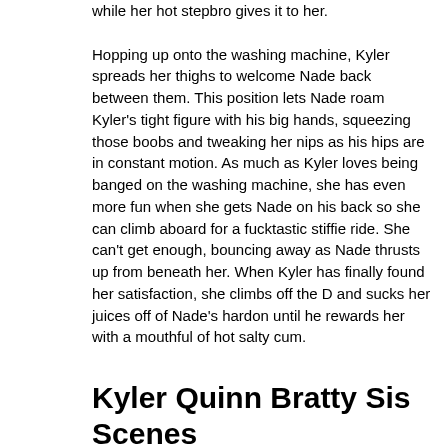while her hot stepbro gives it to her.

Hopping up onto the washing machine, Kyler spreads her thighs to welcome Nade back between them. This position lets Nade roam Kyler's tight figure with his big hands, squeezing those boobs and tweaking her nips as his hips are in constant motion. As much as Kyler loves being banged on the washing machine, she has even more fun when she gets Nade on his back so she can climb aboard for a fucktastic stiffie ride. She can't get enough, bouncing away as Nade thrusts up from beneath her. When Kyler has finally found her satisfaction, she climbs off the D and sucks her juices off of Nade's hardon until he rewards her with a mouthful of hot salty cum.
Kyler Quinn Bratty Sis Scenes